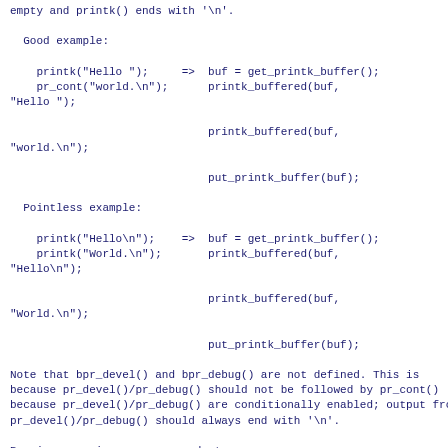empty and printk() ends with '\n'.
Good example:
printk("Hello ");     =>  buf = get_printk_buffer();
    pr_cont("world.\n");      printk_buffered(buf,
"Hello ");

                            printk_buffered(buf,
"world.\n");

                            put_printk_buffer(buf);
Pointless example:
printk("Hello\n");     =>  buf = get_printk_buffer();
    printk("World.\n");       printk_buffered(buf,
"Hello\n");

                            printk_buffered(buf,
"World.\n");

                            put_printk_buffer(buf);
Note that bpr_devel() and bpr_debug() are not defined. This is
because pr_devel()/pr_debug() should not be followed by pr_cont()
because pr_devel()/pr_debug() are conditionally enabled; output from
pr_devel()/pr_debug() should always end with '\n'.
Previous version was proposed at
https://lkml.kernel.org/r/1540375870-6235-1-git-send-